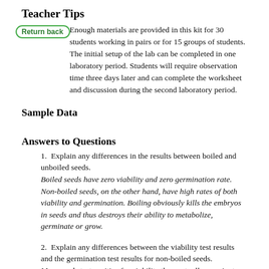Teacher Tips
Enough materials are provided in this kit for 30 students working in pairs or for 15 groups of students. The initial setup of the lab can be completed in one laboratory period. Students will require observation time three days later and can complete the worksheet and discussion during the second laboratory period.
Sample Data
Answers to Questions
1. Explain any differences in the results between boiled and unboiled seeds.
Boiled seeds have zero viability and zero germination rate. Non-boiled seeds, on the other hand, have high rates of both viability and germination. Boiling obviously kills the embryos in seeds and thus destroys their ability to metabolize, germinate or grow.
2. Explain any differences between the viability test results and the germination test results for non-boiled seeds.
More seeds test positive for viability than actually germinate.